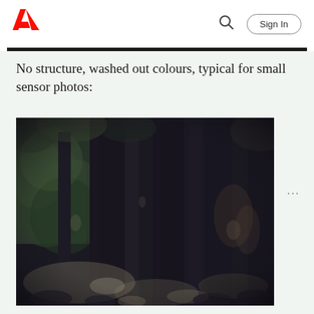Adobe (logo) | Search | Sign In
No structure, washed out colours, typical for small sensor photos:
[Figure (photo): A dark, low-contrast forest photograph showing tree trunks with washed-out, desaturated colours. The scene shows large dark tree trunks dominating the frame with some green foliage visible on the left side and dappled light on the ground. The image demonstrates typical small sensor photo characteristics: no structure, washed out colours.]